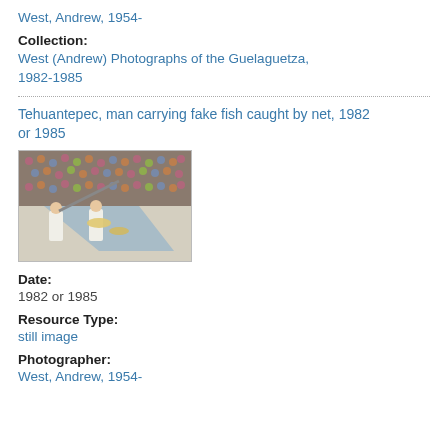West, Andrew, 1954-
Collection:
West (Andrew) Photographs of the Guelaguetza, 1982-1985
Tehuantepec, man carrying fake fish caught by net, 1982 or 1985
[Figure (photo): Photograph showing a man in white clothing carrying a large net with fake fish at an outdoor festival with a crowd in the background.]
Date:
1982 or 1985
Resource Type:
still image
Photographer:
West, Andrew, 1954-